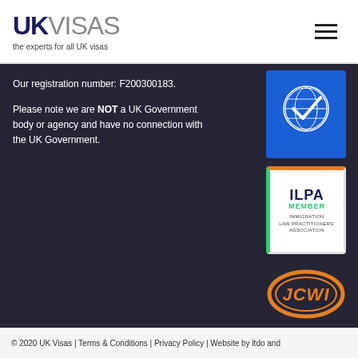[Figure (logo): UK Visas logo with tagline 'the experts for all UK visas']
Our registration number: F200300183.
Please note we are NOT a UK Government body or agency and have no connection with the UK Government.
[Figure (logo): OISC (Office of the Immigration Services Commissioner) logo with globe and checkmark]
[Figure (logo): ILPA MEMBER - Immigration Law Practitioners' Association badge]
[Figure (logo): JCWI oval stamp logo in orange]
© 2020 UK Visas | Terms & Conditions | Privacy Policy | Website by ltdo and